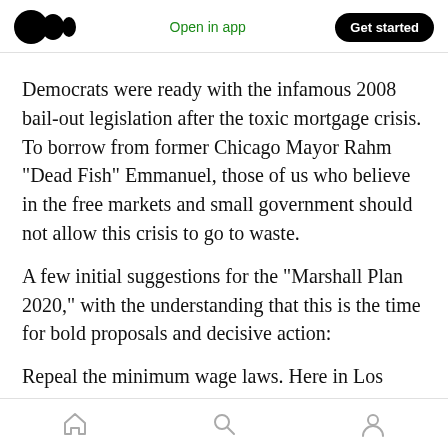Open in app | Get started
Democrats were ready with the infamous 2008 bail-out legislation after the toxic mortgage crisis. To borrow from former Chicago Mayor Rahm “Dead Fish” Emmanuel, those of us who believe in the free markets and small government should not allow this crisis to go to waste.
A few initial suggestions for the “Marshall Plan 2020,” with the understanding that this is the time for bold proposals and decisive action:
Repeal the minimum wage laws. Here in Los
Home | Search | Profile